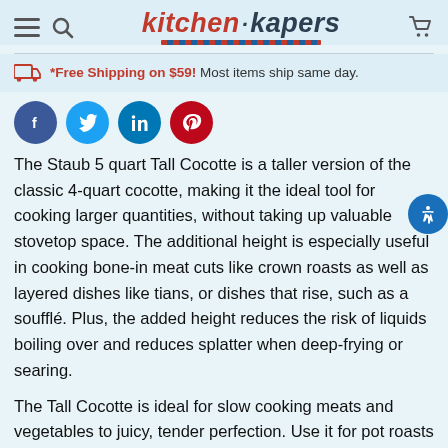Kitchen Kapers
*Free Shipping on $59!  Most items ship same day.
[Figure (other): Social media share buttons: Facebook, Twitter, LinkedIn, Pinterest]
The Staub 5 quart Tall Cocotte is a taller version of the classic 4-quart cocotte, making it the ideal tool for cooking larger quantities, without taking up valuable stovetop space. The additional height is especially useful in cooking bone-in meat cuts like crown roasts as well as layered dishes like tians, or dishes that rise, such as a soufflé. Plus, the added height reduces the risk of liquids boiling over and reduces splatter when deep-frying or searing.
The Tall Cocotte is ideal for slow cooking meats and vegetables to juicy, tender perfection. Use it for pot roasts